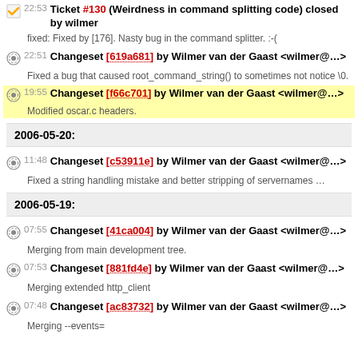22:53 Ticket #130 (Weirdness in command splitting code) closed by wilmer
fixed: Fixed by [176]. Nasty bug in the command splitter. :-(
22:51 Changeset [619a681] by Wilmer van der Gaast <wilmer@...>
Fixed a bug that caused root_command_string() to sometimes not notice \0.
19:55 Changeset [f66c701] by Wilmer van der Gaast <wilmer@...>
Modified oscar.c headers.
2006-05-20:
11:48 Changeset [c53911e] by Wilmer van der Gaast <wilmer@...>
Fixed a string handling mistake and better stripping of servernames ...
2006-05-19:
07:55 Changeset [41ca004] by Wilmer van der Gaast <wilmer@...>
Merging from main development tree.
07:53 Changeset [881fd4e] by Wilmer van der Gaast <wilmer@...>
Merging extended http_client
07:48 Changeset [ac83732] by Wilmer van der Gaast <wilmer@...>
Merging --events=